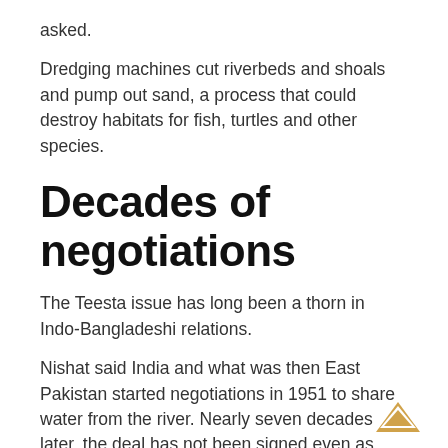asked.
Dredging machines cut riverbeds and shoals and pump out sand, a process that could destroy habitats for fish, turtles and other species.
Decades of negotiations
The Teesta issue has long been a thorn in Indo-Bangladeshi relations.
Nishat said India and what was then East Pakistan started negotiations in 1951 to share water from the river. Nearly seven decades later, the deal has not been signed even as officials have continued with negotiations.